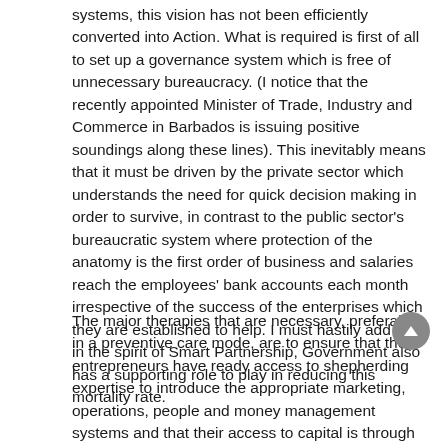systems, this vision has not been efficiently converted into Action. What is required is first of all to set up a governance system which is free of unnecessary bureaucracy. (I notice that the recently appointed Minister of Trade, Industry and Commerce in Barbados is issuing positive soundings along these lines). This inevitably means that it must be driven by the private sector which understands the need for quick decision making in order to survive, in contrast to the public sector's bureaucratic system where protection of the anatomy is the first order of business and salaries reach the employees' bank accounts each month irrespective of the success of the enterprises which they are established to help. I must hastily add that, in the spirit of Smart Partnership, Government also has a supporting role to play in reducing this mortality rate.
The major therapies that are necessary, preferably in a preventive care mode, are to ensure that the entrepreneurs have ready access to shepherding expertise to introduce the appropriate marketing, operations, people and money management systems and that their access to capital is through appropriate financial instruments on a quick response basis. The shepherding input reduces the risk of business failure and may be seen as giving comfort to investors in what